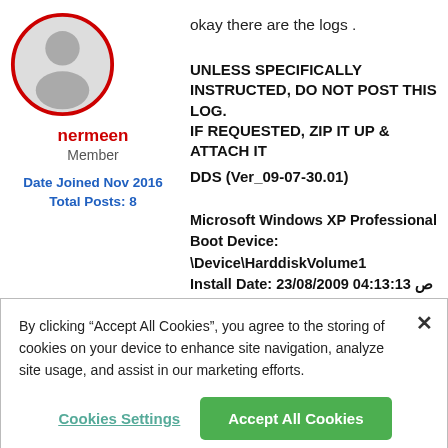[Figure (illustration): User avatar: grey silhouette person icon inside a red circle border]
nermeen
Member
Date Joined Nov 2016
Total Posts: 8
okay there are the logs .
UNLESS SPECIFICALLY INSTRUCTED, DO NOT POST THIS LOG.
IF REQUESTED, ZIP IT UP & ATTACH IT
DDS (Ver_09-07-30.01)
Microsoft Windows XP Professional
Boot Device: \Device\HarddiskVolume1
Install Date: 23/08/2009 04:13:13 ص
System Uptime: 23/08/2009 05:44:58 ص (3 hours ago)
By clicking "Accept All Cookies", you agree to the storing of cookies on your device to enhance site navigation, analyze site usage, and assist in our marketing efforts.
Cookies Settings
Accept All Cookies